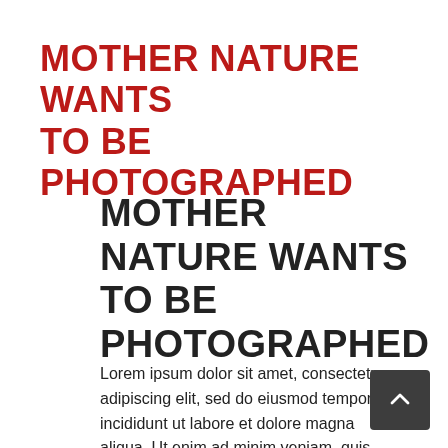MOTHER NATURE WANTS TO BE PHOTOGRAPHED
MOTHER NATURE WANTS TO BE PHOTOGRAPHED
Lorem ipsum dolor sit amet, consectetur adipiscing elit, sed do eiusmod tempor incididunt ut labore et dolore magna aliqua. Ut enim ad minim veniam, quis nostrud exercitation ullamco laboris nisi ut